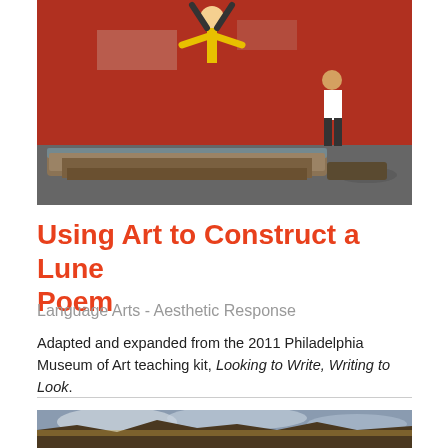[Figure (photo): Street scene with person doing a handstand flip off a mattress against a red brick wall, another person standing nearby]
Using Art to Construct a Lune Poem
Language Arts - Aesthetic Response
Adapted and expanded from the 2011 Philadelphia Museum of Art teaching kit, Looking to Write, Writing to Look.
[Figure (photo): Landscape painting with cloudy sky and rocky terrain, partially visible at the bottom of the page]